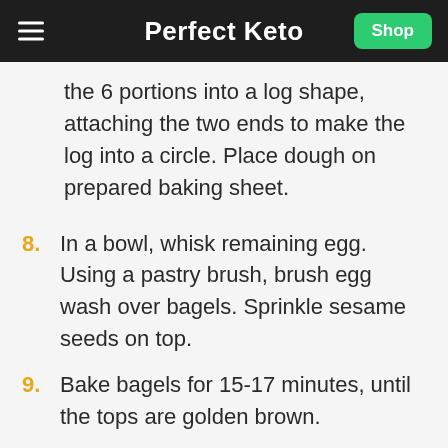Perfect Keto
the 6 portions into a log shape, attaching the two ends to make the log into a circle. Place dough on prepared baking sheet.
8. In a bowl, whisk remaining egg. Using a pastry brush, brush egg wash over bagels. Sprinkle sesame seeds on top.
9. Bake bagels for 15-17 minutes, until the tops are golden brown.
10. Remove bagels from oven and allow to cool for at least 15 minutes.